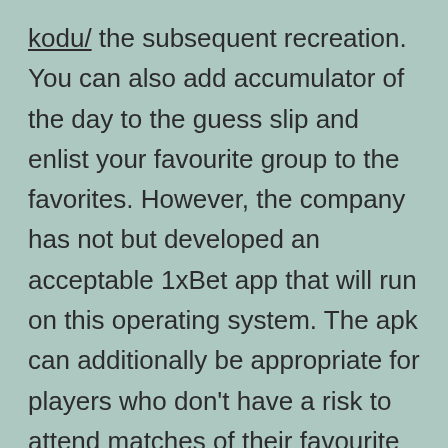kodu/ the subsequent recreation. You can also add accumulator of the day to the guess slip and enlist your favourite group to the favorites. However, the company has not but developed an acceptable 1xBet app that will run on this operating system. The apk can additionally be appropriate for players who don't have a risk to attend matches of their favourite group. It is important for home bettors, as a result of Netherlands is the world the place this may be very troublesome to go looking out such performance. 1xBet software program cell is a paid service by which any participant can